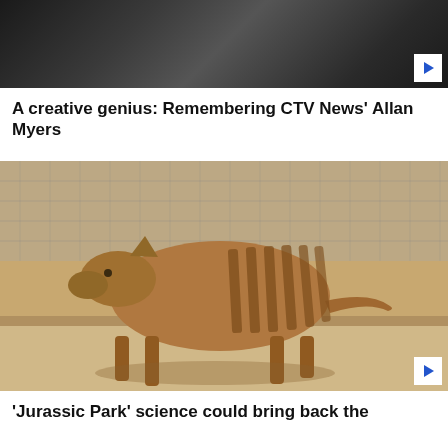[Figure (photo): Black and white photo of a person or scene, partially visible at top of page]
A creative genius: Remembering CTV News' Allan Myers
[Figure (photo): A thylacine (Tasmanian tiger) walking in an enclosure with wire mesh fence in the background. The animal has distinctive stripes on its rear body. Sepia-toned historical photograph.]
'Jurassic Park' science could bring back the